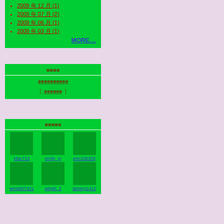2009 年 12 月 (1)
2009 年 07 月 (2)
2009 年 06 月 (1)
2009 年 03 月 (1)
MORE....
■■■■
■■■■■■■■■■
[ ■■■■■■ ]
■■■■■
Mac713    emily_yi    eric109328
wing997421    wingh_2    tammy1412